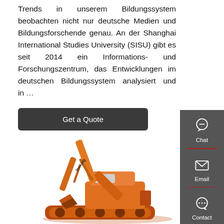Trends in unserem Bildungssystem beobachten nicht nur deutsche Medien und Bildungsforschende genau. An der Shanghai International Studies University (SISU) gibt es seit 2014 ein Informations- und Forschungszentrum, das Entwicklungen im deutschen Bildungssystem analysiert und in ...
[Figure (other): A dark rounded-rectangle button labeled 'Get a Quote' in white text on a dark gray background.]
[Figure (illustration): An orange Lonking excavator/digger machine photographed from the side, with the arm raised, on a white background.]
[Figure (infographic): A vertical gray sidebar with three items: Chat (headset icon), Email (envelope icon), and Contact (speech bubble icon), separated by red horizontal dividers.]